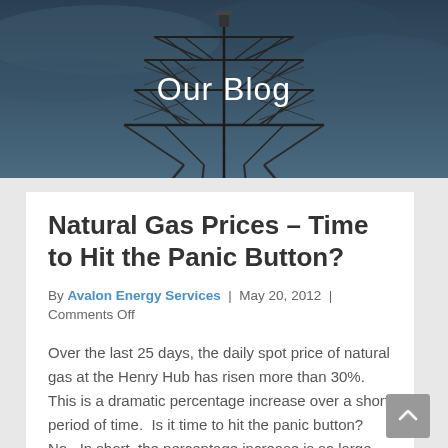[Figure (photo): Dark blue/grey photo of an electrical transmission tower (power line pylon) against a cloudy sky, serving as hero banner background]
Our Blog
Natural Gas Prices – Time to Hit the Panic Button?
By Avalon Energy Services | May 20, 2012 | Comments Off
Over the last 25 days, the daily spot price of natural gas at the Henry Hub has risen more than 30%.  This is a dramatic percentage increase over a short period of time.  Is it time to hit the panic button?  No.  In short, the percentage increase is so large because the base has gotten…